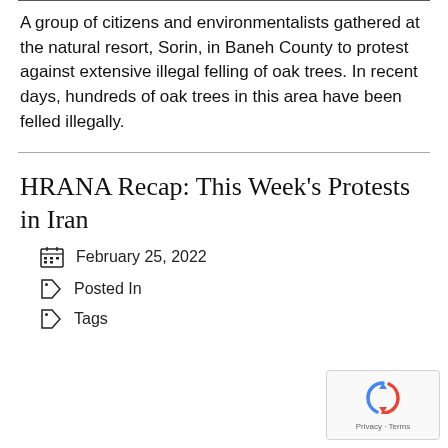A group of citizens and environmentalists gathered at the natural resort, Sorin, in Baneh County to protest against extensive illegal felling of oak trees. In recent days, hundreds of oak trees in this area have been felled illegally.
HRANA Recap: This Week's Protests in Iran
February 25, 2022
Posted In
Tags